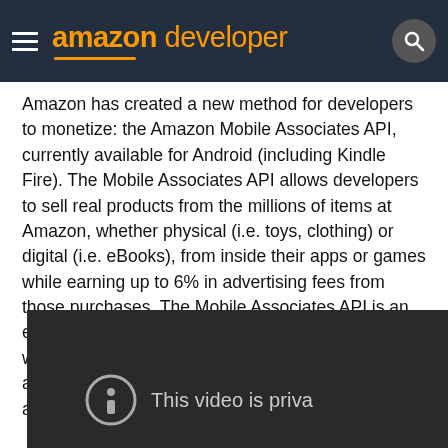amazon developer
Amazon has created a new method for developers to monetize: the Amazon Mobile Associates API, currently available for Android (including Kindle Fire). The Mobile Associates API allows developers to sell real products from the millions of items at Amazon, whether physical (i.e. toys, clothing) or digital (i.e. eBooks), from inside their apps or games while earning up to 6% in advertising fees from those purchases. The Mobile Associates API is an extension of Amazon Associates, our successful web-based affiliate program created in 1996, paying advertising fees to hundreds of thousands of affiliates worldwide.
[Figure (screenshot): Dark video player showing a private video notice with an info icon and text 'This video is priva']